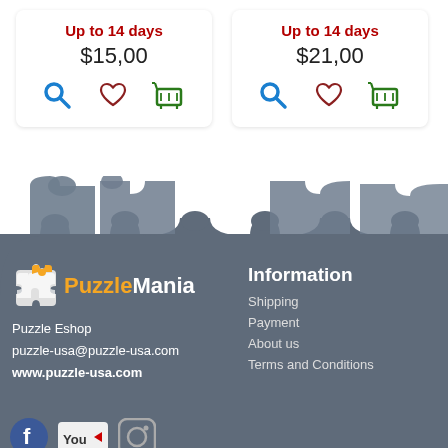Up to 14 days
$15,00
Up to 14 days
$21,00
[Figure (illustration): Gray puzzle piece banner/border decoration forming the top of the footer]
[Figure (logo): PuzzleMania logo with puzzle piece icon, orange Puzzle and white Mania text]
Information
Puzzle Eshop
puzzle-usa@puzzle-usa.com
www.puzzle-usa.com
Shipping
Payment
About us
Terms and Conditions
[Figure (illustration): Social media icons: Facebook, YouTube, Instagram]